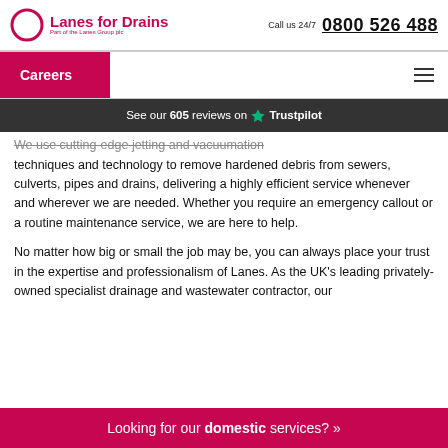Lanes for Drains | Part of the Lanes Group plc | Call us 24/7 | 0800 526 488
Careers
See our 605 reviews on Trustpilot
We use cutting-edge jetting and vacuumation techniques and technology to remove hardened debris from sewers, culverts, pipes and drains, delivering a highly efficient service whenever and wherever we are needed. Whether you require an emergency callout or a routine maintenance service, we are here to help.
No matter how big or small the job may be, you can always place your trust in the expertise and professionalism of Lanes. As the UK's leading privately-owned specialist drainage and wastewater contractor, our
Looking for our domestic services? »